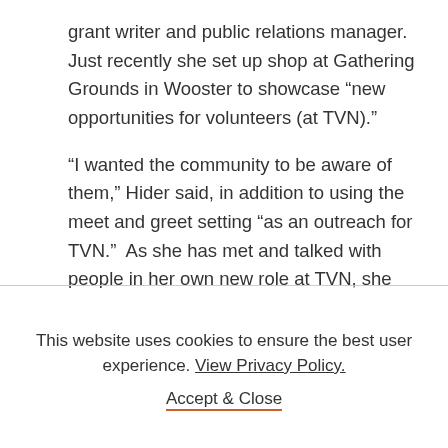grant writer and public relations manager.  Just recently she set up shop at Gathering Grounds in Wooster to showcase “new opportunities for volunteers (at TVN).”
“I wanted the community to be aware of them,” Hider said, in addition to using the meet and greet setting “as an outreach for TVN.”  As she has met and talked with people in her own new role at TVN, she has recognized that many “are still unaware of the
This website uses cookies to ensure the best user experience. View Privacy Policy.
Accept & Close